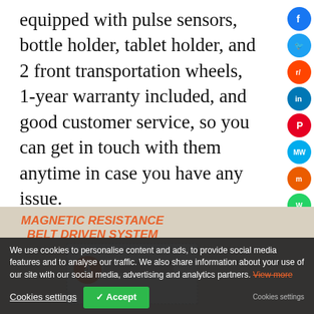equipped with pulse sensors, bottle holder, tablet holder, and 2 front transportation wheels, 1-year warranty included, and good customer service, so you can get in touch with them anytime in case you have any issue.
[Figure (photo): Product image showing 'MAGNETIC RESISTANCE BELT DRIVEN SYSTEM' text with a woman using an elliptical machine, partial product badge visible]
We use cookies to personalise content and ads, to provide social media features and to analyse our traffic. We also share information about your use of our site with our social media, advertising and analytics partners. View more